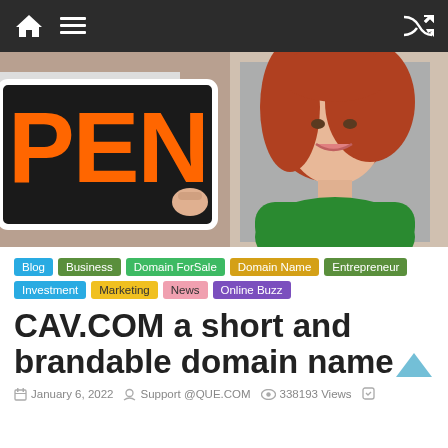Navigation bar with home, menu, and shuffle icons
[Figure (photo): Woman with red hair holding an OPEN sign, smiling at camera, wearing green top]
Blog
Business
Domain ForSale
Domain Name
Entrepreneur
Investment
Marketing
News
Online Buzz
CAV.COM a short and brandable domain name
January 6, 2022  Support @QUE.COM  338193 Views